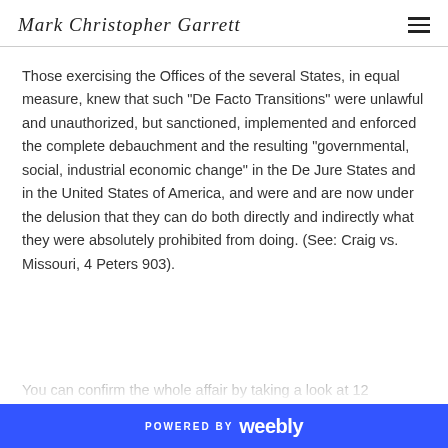Mark Christopher Garrett
Those exercising the Offices of the several States, in equal measure, knew that such "De Facto Transitions" were unlawful and unauthorized, but sanctioned, implemented and enforced the complete debauchment and the resulting "governmental, social, industrial economic change" in the De Jure States and in the United States of America, and were and are now under the delusion that they can do both directly and indirectly what they were absolutely prohibited from doing. (See: Craig vs. Missouri, 4 Peters 903).
You can confirm the whole affair by taking a look at 12
POWERED BY weebly